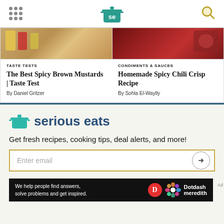Serious Eats header navigation with logo and search icon
[Figure (photo): Photo of spicy brown mustard products]
TASTE TESTS
The Best Spicy Brown Mustards | Taste Test
By Daniel Gritzer
[Figure (photo): Photo of homemade spicy chili crisp]
CONDIMENTS & SAUCES
Homemade Spicy Chili Crisp Recipe
By Sohla El-Waylly
[Figure (logo): Serious Eats brand logo with pot icon and brand name]
Get fresh recipes, cooking tips, deal alerts, and more!
Enter email
[Figure (infographic): Dotdash Meredith ad banner: We help people find answers, solve problems and get inspired.]